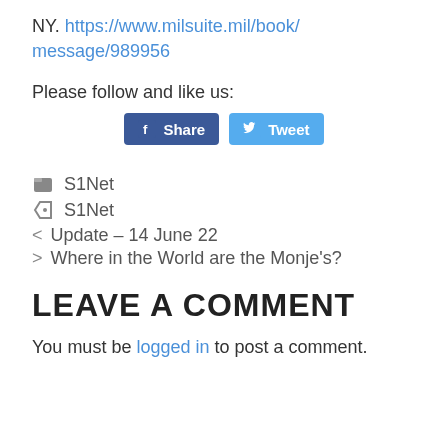NY. https://www.milsuite.mil/book/message/989956
Please follow and like us:
[Figure (other): Facebook Share and Twitter Tweet social media buttons]
S1Net (category)
S1Net (tag)
< Update – 14 June 22
> Where in the World are the Monje's?
LEAVE A COMMENT
You must be logged in to post a comment.